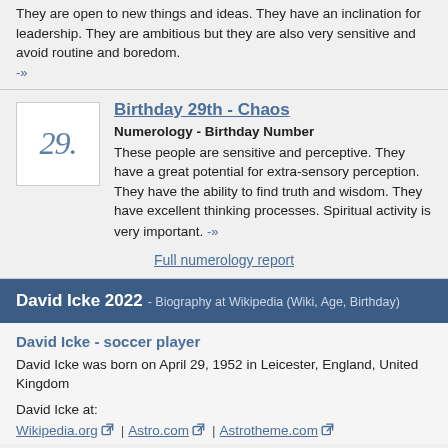They are open to new things and ideas. They have an inclination for leadership. They are ambitious but they are also very sensitive and avoid routine and boredom.
-»
Birthday 29th - Chaos
Numerology - Birthday Number
These people are sensitive and perceptive. They have a great potential for extra-sensory perception. They have the ability to find truth and wisdom. They have excellent thinking processes. Spiritual activity is very important. -»
Full numerology report
David Icke 2022 - Biography at Wikipedia (Wiki, Age, Birthday)
David Icke - soccer player
David Icke was born on April 29, 1952 in Leicester, England, United Kingdom
David Icke at:
Wikipedia.org | Astro.com | Astrotheme.com